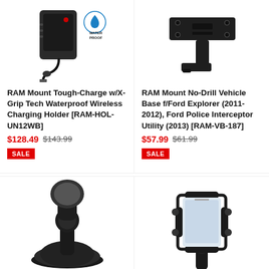[Figure (photo): RAM Mount Tough-Charge wireless charging holder product photo with waterproof badge]
[Figure (photo): RAM Mount No-Drill Vehicle Base bracket product photo]
RAM Mount Tough-Charge w/X-Grip Tech Waterproof Wireless Charging Holder [RAM-HOL-UN12WB]
$128.49  $143.99  SALE
RAM Mount No-Drill Vehicle Base f/Ford Explorer (2011-2012), Ford Police Interceptor Utility (2013) [RAM-VB-187]
$57.99  $61.99  SALE
[Figure (photo): Suction cup mount product photo]
[Figure (photo): X-Grip phone holder product photo]